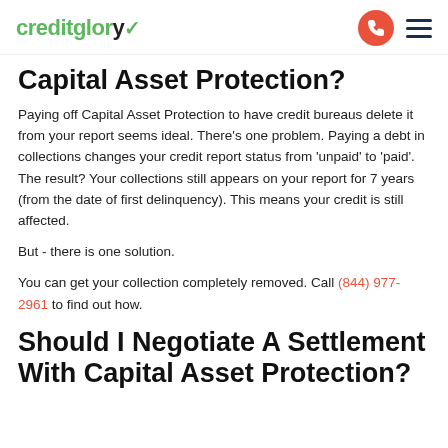creditglory
Capital Asset Protection?
Paying off Capital Asset Protection to have credit bureaus delete it from your report seems ideal. There's one problem. Paying a debt in collections changes your credit report status from 'unpaid' to 'paid'. The result? Your collections still appears on your report for 7 years (from the date of first delinquency). This means your credit is still affected.
But - there is one solution.
You can get your collection completely removed. Call (844) 977-2961 to find out how.
Should I Negotiate A Settlement With Capital Asset Protection?